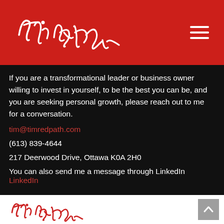[Figure (logo): Tim Redpath cursive signature logo in white on red background, with hamburger menu icon top right]
If you are a transformational leader or business owner willing to invest in yourself, to be the best you can be, and you are seeking personal growth, please reach out to me for a conversation.
tim@timredpath.com
(613) 839-4644
217 Deerwood Drive, Ottawa K0A 2H0
You can also send me a message through LinkedIn LinkedIn
[Figure (logo): Tim Redpath cursive signature logo in red on white background in footer, with scroll-to-top button]